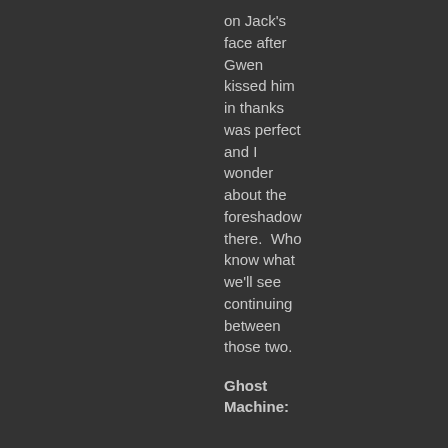on Jack's face after Gwen kissed him in thanks was perfect and I wonder about the foreshadow there.  Who know what we'll see continuing between those two.
Ghost Machine: